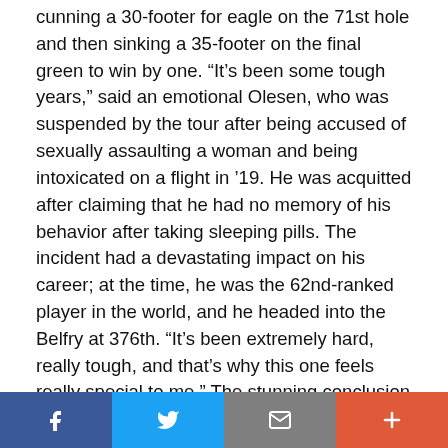cunning a 30-footer for eagle on the 71st hole and then sinking a 35-footer on the final green to win by one. “It’s been some tough years,” said an emotional Olesen, who was suspended by the tour after being accused of sexually assaulting a woman and being intoxicated on a flight in ’19. He was acquitted after claiming that he had no memory of his behavior after taking sleeping pills. The incident had a devastating impact on his career; at the time, he was the 62nd-ranked player in the world, and he headed into the Belfry at 376th. “It’s been extremely hard, really tough, and that’s why this one feels really special to me.” The stunning conclusion gave Olesen his first win since 2018.
Sleepy No More: AT&T Byron Nelson. The post-
[Figure (other): Social media sharing bar with four buttons: Facebook (blue), Twitter (light blue), Email (grey), More/Plus (orange-red)]